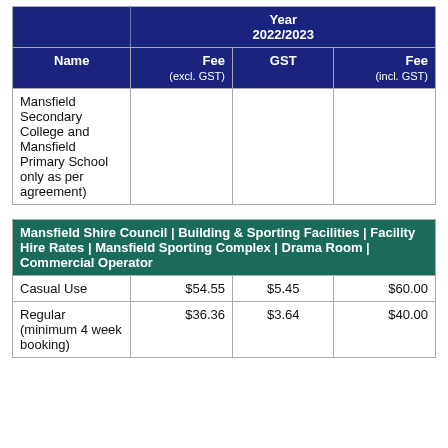| Name | Fee (excl. GST) | GST | Fee (incl. GST) |
| --- | --- | --- | --- |
| Mansfield Secondary College and Mansfield Primary School only as per agreement) |  |  |  |
| Mansfield Shire Council | Building & Sporting Facilities | Facility Hire Rates | Mansfield Sporting Complex | Drama Room | Commercial Operator |  |  |  |
| --- | --- | --- | --- |
| Casual Use | $54.55 | $5.45 | $60.00 |
| Regular (minimum 4 week booking) | $36.36 | $3.64 | $40.00 |